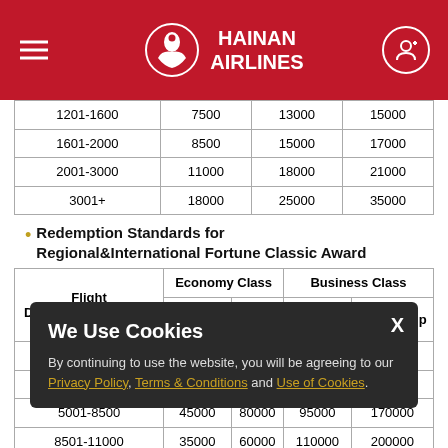HAINAN AIRLINES
| Flight Distance(Kilometers) | Economy Class One Way | Economy Class Round Trip | Business Class One Way | Business Class Round Trip |
| --- | --- | --- | --- | --- |
| 1201-1600 | 7500 | 13000 | 15000 |
| 1601-2000 | 8500 | 15000 | 17000 |
| 2001-3000 | 11000 | 18000 | 21000 |
| 3001+ | 18000 | 25000 | 35000 |
Redemption Standards for Regional&International Fortune Classic Award
| Flight Distance(Kilometers) | Economy Class One Way | Economy Class Round Trip | Business Class One Way | Business Class Round Trip |
| --- | --- | --- | --- | --- |
| 1-2500 | 24000 | 40000 | 40000 | 70000 |
| 2501-5000 | 28000 | 45000 | 50000 | 90000 |
| 5001-8500 | 45000 | 80000 | 95000 | 170000 |
| 8501-11000 | 35000 | 60000 | 110000 | 200000 |
| 11001+ |  |  |  | 220000 |
Redemption Standards for